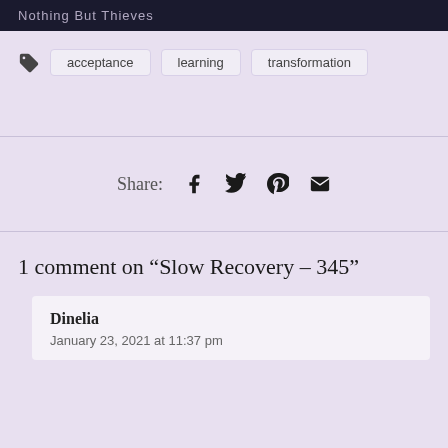Nothing But Thieves
acceptance
learning
transformation
Share: [facebook] [twitter] [pinterest] [email]
1 comment on “Slow Recovery – 345”
Dinelia
January 23, 2021 at 11:37 pm